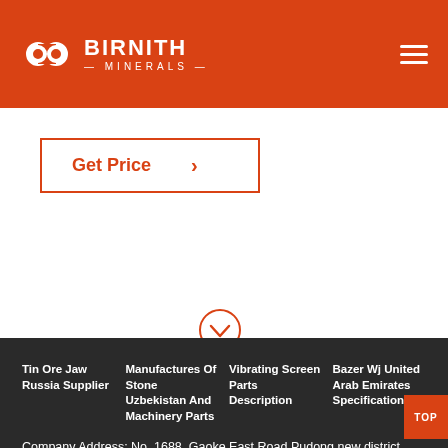[Figure (logo): Birnith Minerals logo with orange hexagonal icon and white text on orange header bar]
Get Price
[Figure (other): Circular chevron-down scroll indicator icon in orange outline]
Tin Ore Jaw Russia Supplier
Manufactures Of Stone Uzbekistan And Machinery Parts
Vibrating Screen Parts Description
Bazer Wj United Arab Emirates Specifications
Company Address: No. 1688, Gaoke East Road,Pudong new district, Shanghai, China.
Copyright ©2000-2022 BIRNITH MINERALS CO.,LTD.
Sitemap